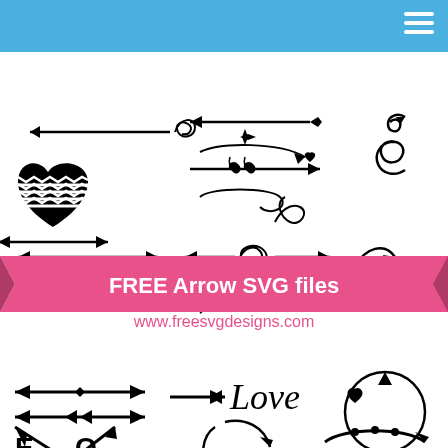[Figure (illustration): Collection of decorative arrow SVG clip art designs including straight arrows, chevron heart with arrows, swirling arrows, botanical arrows, love arrows, crossed arrows spelling LOVE, circular arrows, and curved arrows on white background]
FREE Arrow SVG files
www.freesvgdesigns.com